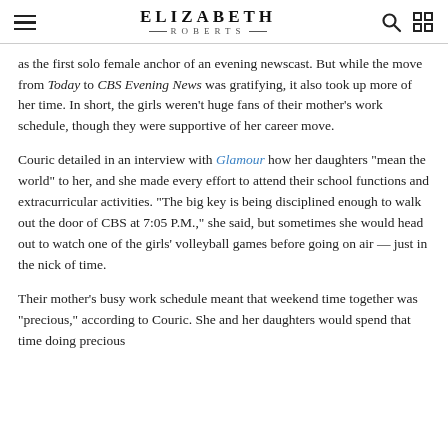ELIZABETH ROBERTS
as the first solo female anchor of an evening newscast. But while the move from Today to CBS Evening News was gratifying, it also took up more of her time. In short, the girls weren't huge fans of their mother's work schedule, though they were supportive of her career move.
Couric detailed in an interview with Glamour how her daughters "mean the world" to her, and she made every effort to attend their school functions and extracurricular activities. "The big key is being disciplined enough to walk out the door of CBS at 7:05 P.M.," she said, but sometimes she would head out to watch one of the girls' volleyball games before going on air — just in the nick of time.
Their mother's busy work schedule meant that weekend time together was "precious," according to Couric. She and her daughters would spend that time doing precious